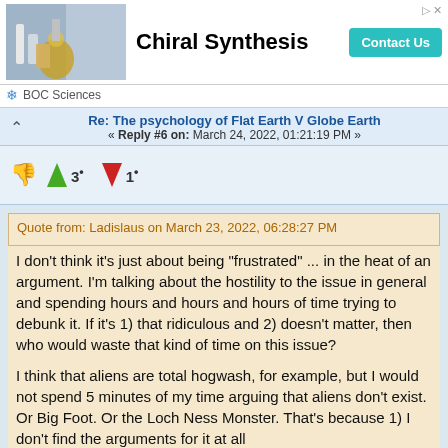[Figure (screenshot): Ad banner for BOC Sciences Chiral Synthesis with lab image, title, Contact Us button]
Re: The psychology of Flat Earth V Globe Earth
« Reply #6 on: March 24, 2022, 01:21:19 PM »
3• (upvote) 1• (downvote)
Quote from: Ladislaus on March 23, 2022, 06:28:27 PM
I don't think it's just about being "frustrated" ... in the heat of an argument.  I'm talking about the hostility to the issue in general and spending hours and hours and hours of time trying to debunk it.  If it's 1) that ridiculous and 2) doesn't matter, then who would waste that kind of time on this issue?
I think that aliens are total hogwash, for example, but I would not spend 5 minutes of my time arguing that aliens don't exist.  Or Big Foot.  Or the Loch Ness Monster.  That's because 1) I don't find the arguments for it at all